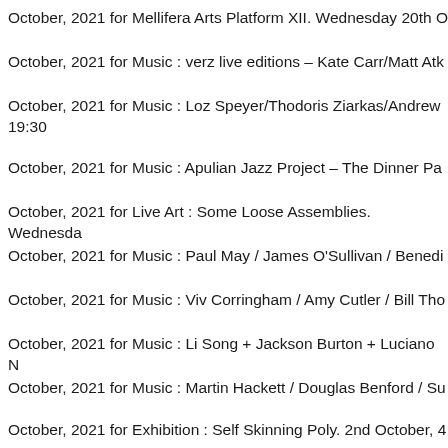October, 2021 for Mellifera Arts Platform XII. Wednesday 20th O
October, 2021 for Music : verz live editions – Kate Carr/Matt Atk
October, 2021 for Music : Loz Speyer/Thodoris Ziarkas/Andrew 19:30
October, 2021 for Music : Apulian Jazz Project – The Dinner Pa
October, 2021 for Live Art : Some Loose Assemblies. Wednesda
October, 2021 for Music : Paul May / James O'Sullivan / Benedi
October, 2021 for Music : Viv Corringham / Amy Cutler / Bill Tho
October, 2021 for Music : Li Song + Jackson Burton + Luciano N
October, 2021 for Music : Martin Hackett / Douglas Benford / Su
October, 2021 for Exhibition : Self Skinning Poly. 2nd October, 4